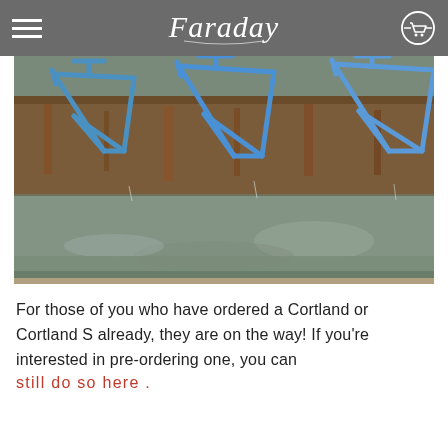Faraday
[Figure (photo): Blue bicycle frames being dipped in or emerging from a water/chemical treatment bath inside what appears to be an industrial facility. Multiple frames are suspended and partially submerged in a gray liquid, with water streaming off them.]
For those of you who have ordered a Cortland or Cortland S already, they are on the way! If you're interested in pre-ordering one, you can still do so here .